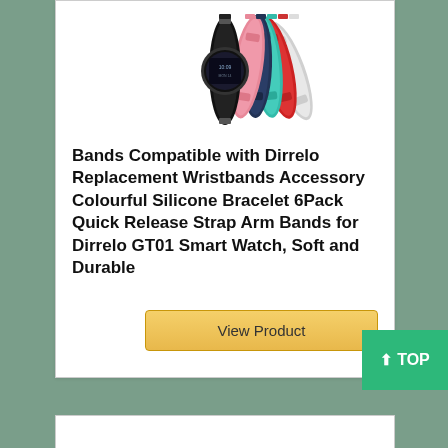[Figure (photo): Product photo showing multiple colorful silicone watch bands/wristbands fanned out, in colors including black, pink, dark navy, teal/mint, red, and white/grey, with a smartwatch face visible.]
Bands Compatible with Dirrelo Replacement Wristbands Accessory Colourful Silicone Bracelet 6Pack Quick Release Strap Arm Bands for Dirrelo GT01 Smart Watch, Soft and Durable
View Product